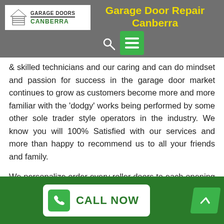Garage Door Repair Canberra
[Figure (logo): Garage Doors Canberra logo with house/garage icon]
& skilled technicians and our caring and can do mindset and passion for success in the garage door market continues to grow as customers become more and more familiar with the 'dodgy' works being performed by some other sole trader style operators in the industry. We know you will 100% Satisfied with our services and more than happy to recommend us to all your friends and family.
We personalize order every roller doors to each opening to ensure an ideal fit for smooth operation & longevity. Single/ Double or Larger Roller Doors, you can count on us to offer the very best option for your garage door requirements.
Roller Door Options:.
CALL NOW